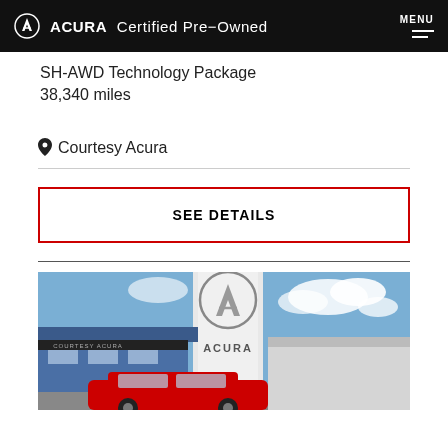ACURA Certified Pre-Owned | MENU
SH-AWD Technology Package
38,340 miles
Courtesy Acura
SEE DETAILS
[Figure (photo): Exterior photo of an Acura dealership building showing the Acura logo on a white pylon sign, blue sky with clouds, and a red car partially visible at the bottom.]